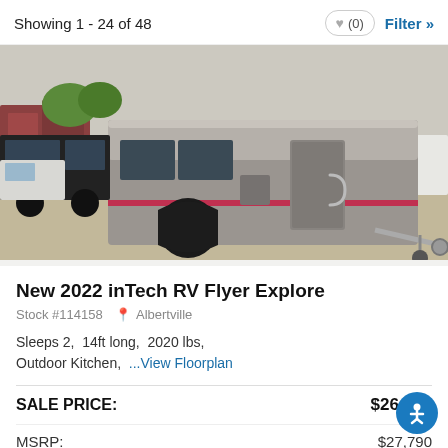Showing 1 - 24 of 48
[Figure (photo): Photo of a 2022 inTech RV Flyer Explore travel trailer, silver/gray exterior with a stripe, parked on gravel lot]
New 2022 inTech RV Flyer Explore
Stock #114158  Albertville
Sleeps 2,  14ft long,  2020 lbs,  Outdoor Kitchen,  ...View Floorplan
| Label | Value |
| --- | --- |
| SALE PRICE: | $26,072 |
| MSRP: | $27,790 |
| Savings: | $1,718 |